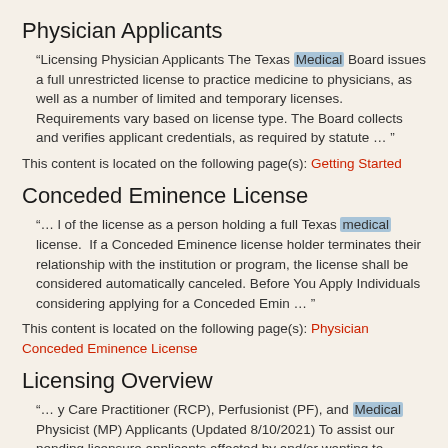Physician Applicants
“Licensing Physician Applicants The Texas Medical Board issues a full unrestricted license to practice medicine to physicians, as well as a number of limited and temporary licenses. Requirements vary based on license type. The Board collects and verifies applicant credentials, as required by statute … ”
This content is located on the following page(s): Getting Started
Conceded Eminence License
“… l of the license as a person holding a full Texas medical license.  If a Conceded Eminence license holder terminates their relationship with the institution or program, the license shall be considered automatically canceled. Before You Apply Individuals considering applying for a Conceded Emin … ”
This content is located on the following page(s): Physician Conceded Eminence License
Licensing Overview
“… y Care Practitioner (RCP), Perfusionist (PF), and Medical Physicist (MP) Applicants (Updated 8/10/2021) To assist our pending licensure applicants affected by and/or wanting to